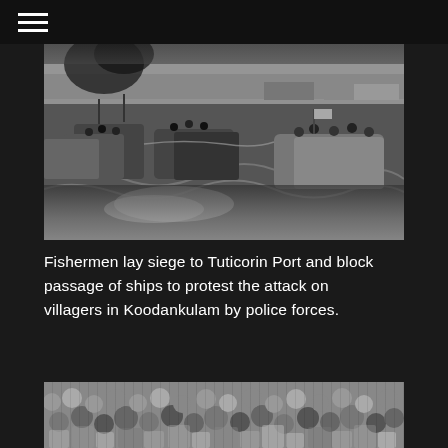[Figure (photo): Black and white photograph of fishermen in boats laying siege to Tuticorin Port, blocking passage of ships on water]
Fishermen lay siege to Tuticorin Port and block passage of ships to protest the attack on villagers in Koodankulam by police forces.
[Figure (photo): Black and white photograph of a large crowd of people gathered together]